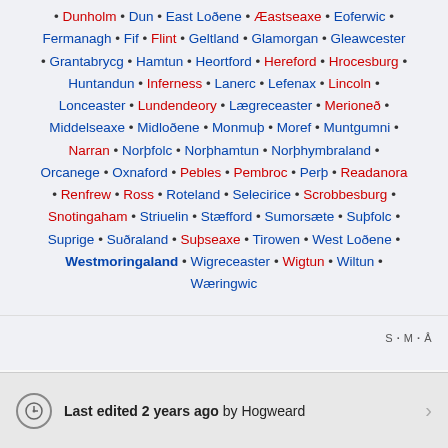• Dunholm • Dun • East Loðene • Æastseaxe • Eoferwic • Fermanagh • Fif • Flint • Geltland • Glamorgan • Gleawcester • Grantabrycg • Hamtun • Heortford • Hereford • Hrocesburg • Huntandun • Inferness • Lanerc • Lefenax • Lincoln • Lonceaster • Lundendeory • Lægreceaster • Merioneð • Middelseaxe • Midloðene • Monmuþ • Moref • Muntgumni • Narran • Norþfolc • Norþhamtun • Norþhymbraland • Orcanege • Oxnaford • Pebles • Pembroc • Perþ • Readanora • Renfrew • Ross • Roteland • Selecirice • Scrobbesburg • Snotingaham • Striuelin • Stæfford • Sumorsæte • Suþfolc • Suprige • Suðraland • Suþseaxe • Tirowen • West Loðene • Westmoringaland • Wigreceaster • Wigtun • Wiltun • Wæringwic
S · M · Å
Last edited 2 years ago by Hogweard